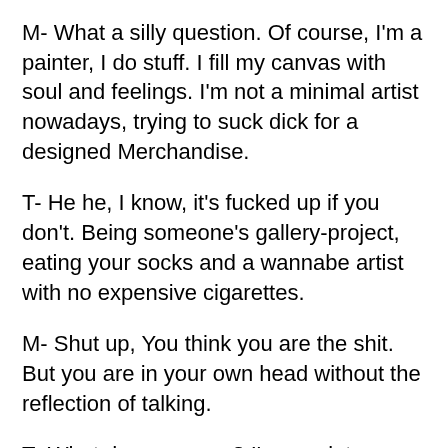M- What a silly question. Of course, I'm a painter, I do stuff. I fill my canvas with soul and feelings. I'm not a minimal artist nowadays, trying to suck dick for a designed Merchandise.
T- He he, I know, it's fucked up if you don't. Being someone's gallery-project, eating your socks and a wannabe artist with no expensive cigarettes.
M- Shut up, You think you are the shit. But you are in your own head without the reflection of talking.
T- What do you mean? I'm a painter sometimes, and sometimes I want to go on a vacation visiting you people. It's so many artist now that I'm glad I'm not a ordinary person from Art Now. It's so good to tear down the heroes of the knight, aren't you also afraid of the gate of the bad dead spirits and the suicida [menu icon] prisoners?